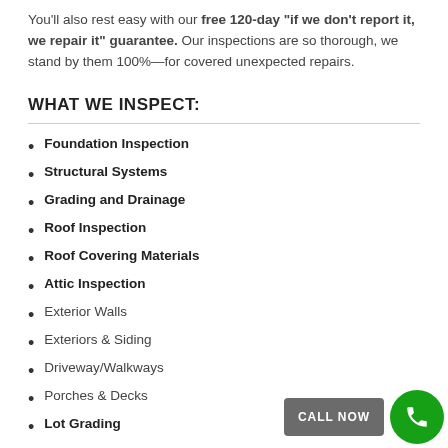You'll also rest easy with our free 120-day “if we don’t report it, we repair it” guarantee. Our inspections are so thorough, we stand by them 100%—for covered unexpected repairs.
WHAT WE INSPECT:
Foundation Inspection
Structural Systems
Grading and Drainage
Roof Inspection
Roof Covering Materials
Attic Inspection
Exterior Walls
Exteriors & Siding
Driveway/Walkways
Porches & Decks
Lot Grading